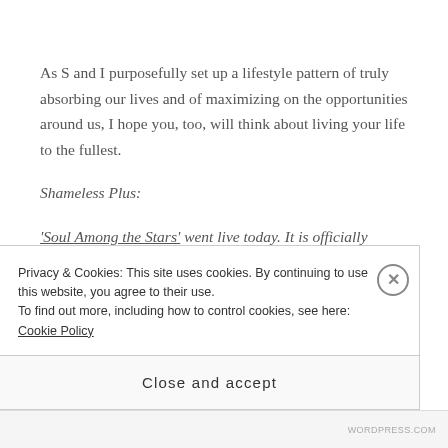As S and I purposefully set up a lifestyle pattern of truly absorbing our lives and of maximizing on the opportunities around us, I hope you, too, will think about living your life to the fullest.
Shameless Plus:
'Soul Among the Stars' went live today. It is officially on sale! If you do read it, please take the time to leave
Privacy & Cookies: This site uses cookies. By continuing to use this website, you agree to their use.
To find out more, including how to control cookies, see here: Cookie Policy
Close and accept
WORDPRESS.COM